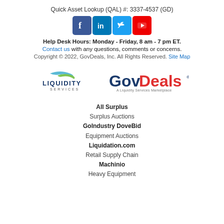Quick Asset Lookup (QAL) #: 3337-4537 (GD)
[Figure (logo): Social media icons: Facebook, LinkedIn, Twitter, YouTube]
Help Desk Hours: Monday - Friday, 8 am - 7 pm ET.
Contact us with any questions, comments or concerns.
Copyright © 2022, GovDeals, Inc. All Rights Reserved. Site Map
[Figure (logo): Liquidity Services logo and GovDeals - A Liquidity Services Marketplace logo]
All Surplus
Surplus Auctions
GoIndustry DoveBid
Equipment Auctions
Liquidation.com
Retail Supply Chain
Machinio
Heavy Equipment